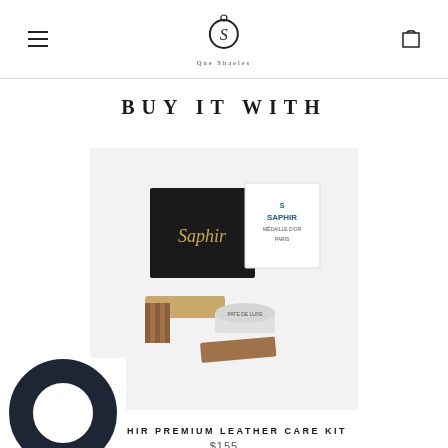Que Shaeles logo and navigation
BUY IT WITH
[Figure (photo): Product photo of Saphir Premium Leather Care Kit showing a black box, shoe care cream jar, brush, chamois cloth, and Saphir branded items on a light background]
SAPHIR PREMIUM LEATHER CARE KIT
$155
[Figure (photo): Partial product image showing a dark navy/black circular belt or accessory in the bottom left corner]